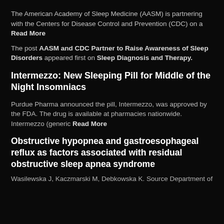The American Academy of Sleep Medicine (AASM) is partnering with the Centers for Disease Control and Prevention (CDC) on a Read More
The post AASM and CDC Partner to Raise Awareness of Sleep Disorders appeared first on Sleep Diagnosis and Therapy.
Intermezzo: New Sleeping Pill for Middle of the Night Insomniacs
Purdue Pharma announced the pill, Intermezzo, was approved by the FDA. The drug is available at pharmacies nationwide. Intermezzo (generic Read More
Obstructive hypopnea and gastroesophageal reflux as factors associated with residual obstructive sleep apnea syndrome
Wasilewska J, Kaczmarski M, Debkowska K. Source Department of